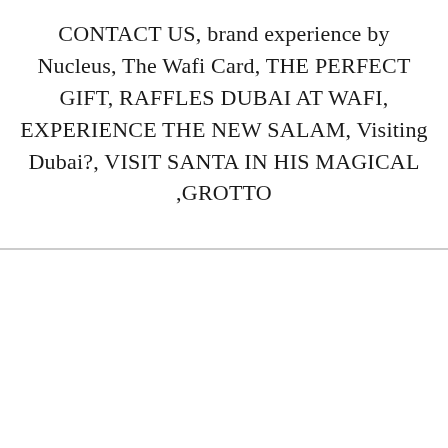CONTACT US, brand experience by Nucleus, The Wafi Card, THE PERFECT GIFT, RAFFLES DUBAI AT WAFI, EXPERIENCE THE NEW SALAM, Visiting Dubai?, VISIT SANTA IN HIS MAGICAL ,GROTTO